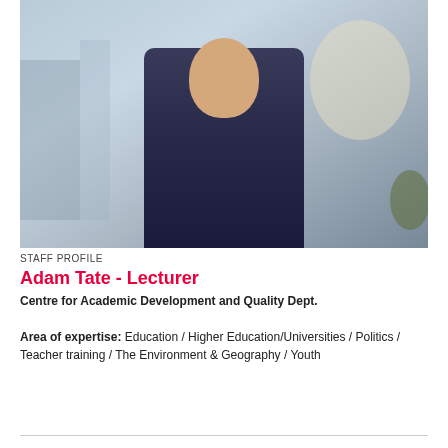[Figure (photo): Professional headshot of Adam Tate, a young man in a navy blue suit and dark tie, smiling, with a blurred indoor background]
STAFF PROFILE
Adam Tate - Lecturer
Centre for Academic Development and Quality Dept.
Area of expertise: Education / Higher Education/Universities / Politics / Teacher training / The Environment & Geography / Youth